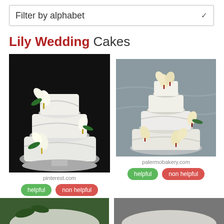Filter by alphabet
Lily Wedding Cakes
[Figure (photo): White tiered wedding cake decorated with white calla lily flowers and green leaves on a silver stand, dark background. Source: pinterest.com]
[Figure (photo): White tiered wedding cake decorated with cream and red calla lily flowers with draped fondant, gray background. Source: palermobakery.com]
pinterest.com
palermobakery.com
helpful   non helpful
helpful   non helpful
[Figure (photo): Partial view of another wedding cake with green floral decoration, bottom left.]
[Figure (photo): Partial view of another wedding cake, bottom right.]